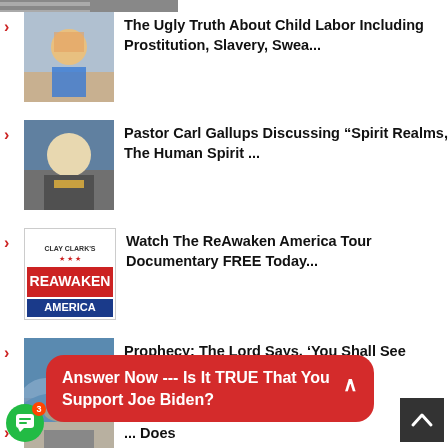The Ugly Truth About Child Labor Including Prostitution, Slavery, Swea...
Pastor Carl Gallups Discussing “Spirit Realms, The Human Spirit ...
Watch The ReAwaken America Tour Documentary FREE Today...
Prophecy: The Lord Says, ‘You Shall See Judgment and Deliverance...
... Does
Answer Now --- Is It TRUE That You Support Joe Biden?